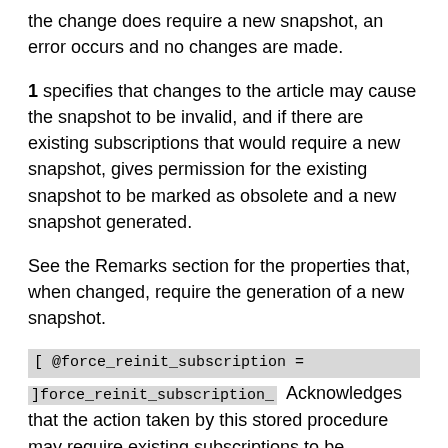the change does require a new snapshot, an error occurs and no changes are made.
1 specifies that changes to the article may cause the snapshot to be invalid, and if there are existing subscriptions that would require a new snapshot, gives permission for the existing snapshot to be marked as obsolete and a new snapshot generated.
See the Remarks section for the properties that, when changed, require the generation of a new snapshot.
[ @force_reinit_subscription =
]force_reinit_subscription_  Acknowledges that the action taken by this stored procedure may require existing subscriptions to be reinitialized. force_reinit_subscription is a bit with a default of 0.
0 specifies that changes to the article do not cause the snapshot to be invalidated. If the change does require...